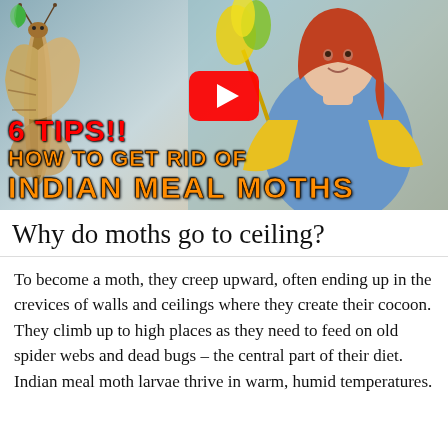[Figure (screenshot): YouTube video thumbnail showing a woman with yellow cleaning gloves holding a feather duster, a large moth on the left side, a red YouTube play button in the center, and bold text overlay reading '6 TIPS!! HOW TO GET RID OF INDIAN MEAL MOTHS']
Why do moths go to ceiling?
To become a moth, they creep upward, often ending up in the crevices of walls and ceilings where they create their cocoon. They climb up to high places as they need to feed on old spider webs and dead bugs – the central part of their diet. Indian meal moth larvae thrive in warm, humid temperatures.